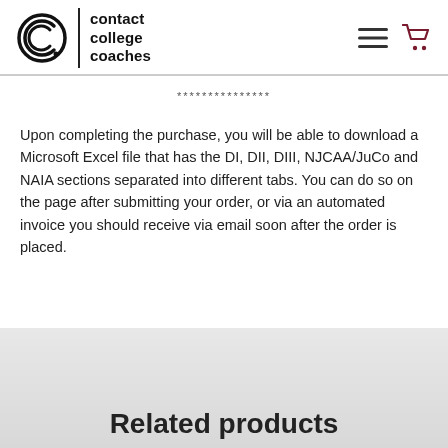[Figure (logo): Contact College Coaches logo with stylized C icon and text]
***************
Upon completing the purchase, you will be able to download a Microsoft Excel file that has the DI, DII, DIII, NJCAA/JuCo and NAIA sections separated into different tabs. You can do so on the page after submitting your order, or via an automated invoice you should receive via email soon after the order is placed.
Related products